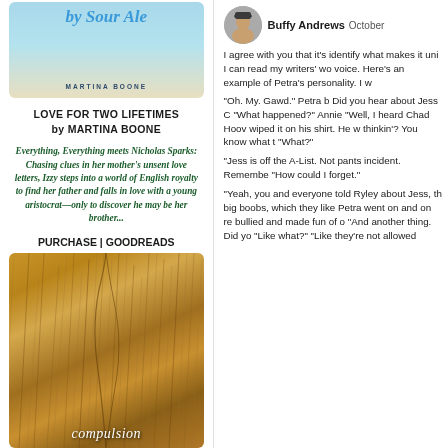[Figure (photo): Book cover top portion for 'Love for Two Lifetimes' by Martina Boone, light blue and beige gradient with script title text]
LOVE FOR TWO LIFETIMES
by MARTINA BOONE
Everything, Everything meets Nicholas Sparks: Chasing clues in her mother's unsent love letters, Izzy steps into a world of English royalty to find her father and falls in love with a young aristocrat—only to discover he may be her brother...
PURCHASE | GOODREADS
[Figure (photo): Bottom book cover showing golden/amber grass or straw texture with 'compulsion' text at bottom in italic white font]
Buffy Andrews  October
I agree with you that it's identify what makes it uni I can read my writers' wo voice. Here's an example of Petra's personality. I w
"Oh. My. Gawd." Petra b Did you hear about Jess C "What happened?" Annie "Well, I heard Chad Hoov wiped it on his shirt. He w thinkin'? You know what t "What?" "Jess is off the A-List. Not pants incident. Remembe "How could I forget." "Yeah, you and everyone told Ryley about Jess, th big boobs, which they like Petra went on and on re bullied and made fun of o "And another thing. Did yo "Like what?" "Like they're not allowed